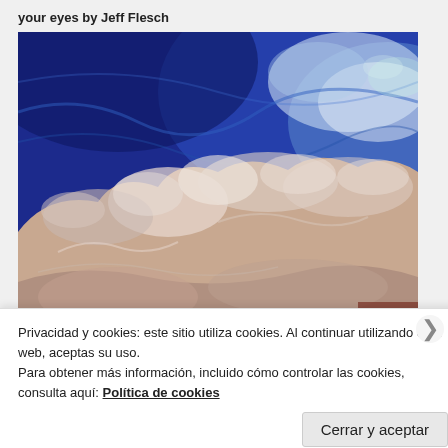your eyes by Jeff Flesch
[Figure (illustration): Impressionist-style oil painting of dramatic cumulus clouds against a deep blue sky, with swirling paint textures in blues, whites, pinks, and warm earth tones.]
Privacidad y cookies: este sitio utiliza cookies. Al continuar utilizando esta web, aceptas su uso.
Para obtener más información, incluido cómo controlar las cookies, consulta aquí: Política de cookies
Cerrar y aceptar